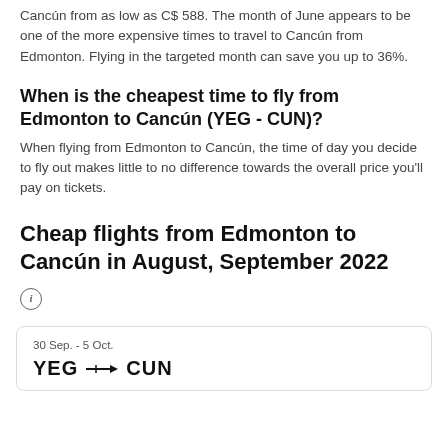Cancún from as low as C$ 588. The month of June appears to be one of the more expensive times to travel to Cancún from Edmonton. Flying in the targeted month can save you up to 36%.
When is the cheapest time to fly from Edmonton to Cancún (YEG - CUN)?
When flying from Edmonton to Cancún, the time of day you decide to fly out makes little to no difference towards the overall price you'll pay on tickets.
Cheap flights from Edmonton to Cancún in August, September 2022
30 Sep. - 5 Oct.
YEG → CUN